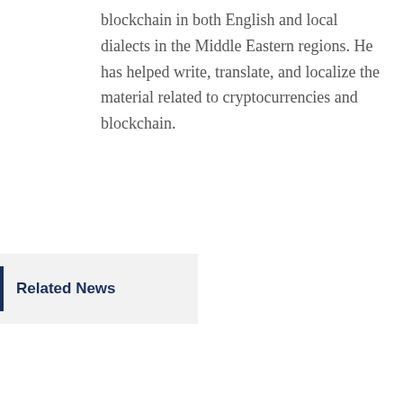blockchain in both English and local dialects in the Middle Eastern regions. He has helped write, translate, and localize the material related to cryptocurrencies and blockchain.
Related News